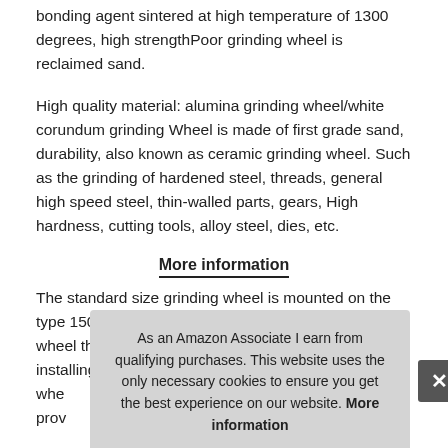bonding agent sintered at high temperature of 1300 degrees, high strengthPoor grinding wheel is reclaimed sand.
High quality material: alumina grinding wheel/white corundum grinding Wheel is made of first grade sand, durability, also known as ceramic grinding wheel. Such as the grinding of hardened steel, threads, general high speed steel, thin-walled parts, gears, High hardness, cutting tools, alloy steel, dies, etc.
More information
The standard size grinding wheel is mounted on the type 150 grinding wheel machine, choose the grinding wheel that suits you. Safety and precautions: before installing the grinding whe... prov...
Plea...
Dimensions: white alumina grinding wheel diameter 6 inch
As an Amazon Associate I earn from qualifying purchases. This website uses the only necessary cookies to ensure you get the best experience on our website. More information